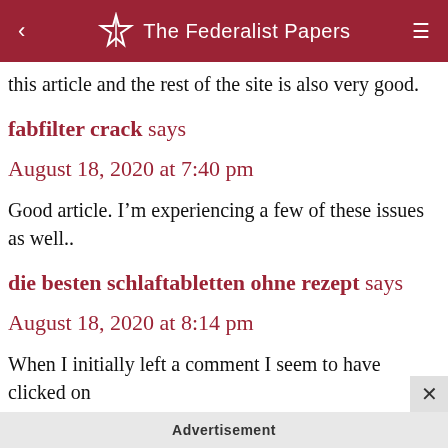The Federalist Papers
this article and the rest of the site is also very good.
fabfilter crack says
August 18, 2020 at 7:40 pm
Good article. I’m experiencing a few of these issues as well..
die besten schlaftabletten ohne rezept says
August 18, 2020 at 8:14 pm
When I initially left a comment I seem to have clicked on
Advertisement